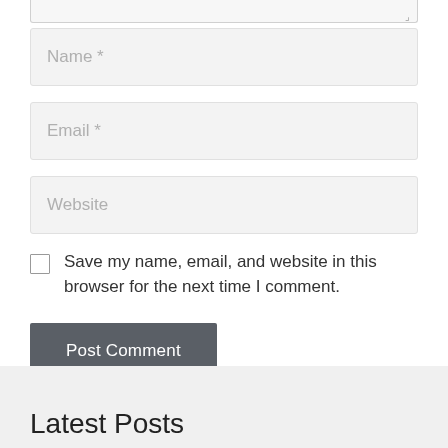[Figure (screenshot): Top edge of a textarea input field with resize handle at bottom-right corner]
Name *
Email *
Website
Save my name, email, and website in this browser for the next time I comment.
Post Comment
Latest Posts